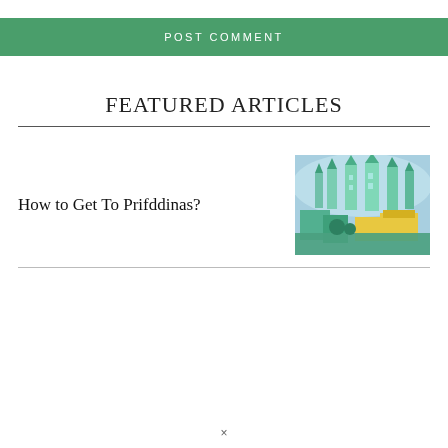POST COMMENT
FEATURED ARTICLES
How to Get To Prifddinas?
[Figure (illustration): A screenshot of a fantasy game city (Prifddinas) showing teal/green crystalline spires, buildings with yellow roofs, and a stylized aerial view with a blue sky.]
×